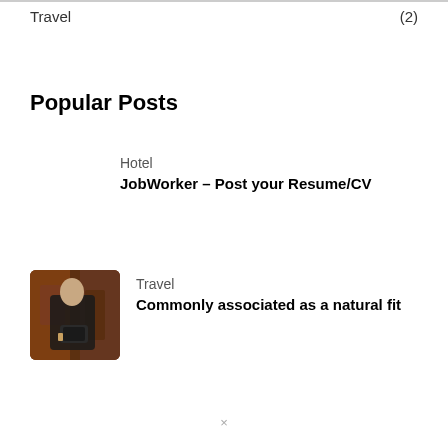Travel (2)
Popular Posts
Hotel
JobWorker – Post your Resume/CV
[Figure (photo): A person in dark clothing holding a book or tablet, with a warm wooden interior background]
Travel
Commonly associated as a natural fit